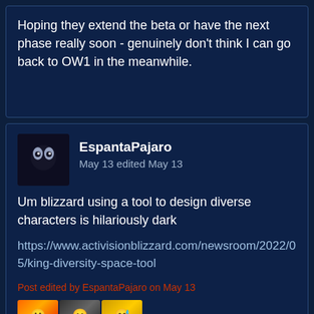Hoping they extend the beta or have the next phase really soon - genuinely don't think I can go back to OW1 in the meanwhile.
EspantaPajaro
May 13 edited May 13
Um blizzard using a tool to design diverse characters is hilariously dark
https://www.activisionblizzard.com/newsroom/2022/05/king-diversity-space-tool
Post edited by EspantaPajaro on May 13
TexiKen
May 13